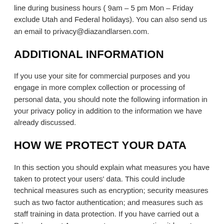line during business hours ( 9am – 5 pm Mon – Friday exclude Utah and Federal holidays). You can also send us an email to privacy@diazandlarsen.com.
ADDITIONAL INFORMATION
If you use your site for commercial purposes and you engage in more complex collection or processing of personal data, you should note the following information in your privacy policy in addition to the information we have already discussed.
HOW WE PROTECT YOUR DATA
In this section you should explain what measures you have taken to protect your users' data. This could include technical measures such as encryption; security measures such as two factor authentication; and measures such as staff training in data protection. If you have carried out a Privacy Impact Assessment, you can mention it here too.